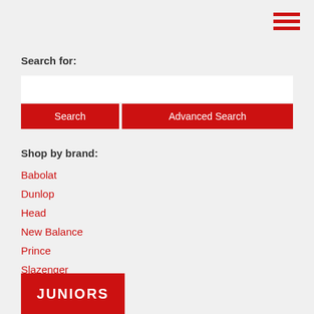[Figure (other): Hamburger menu icon (three horizontal red lines) in top right corner]
Search for:
[Figure (other): Search text input box (white rectangle)]
Search
Advanced Search
Shop by brand:
Babolat
Dunlop
Head
New Balance
Prince
Slazenger
Tecnifibre
[Figure (other): Red banner with white text reading JUNIORS at the bottom left]